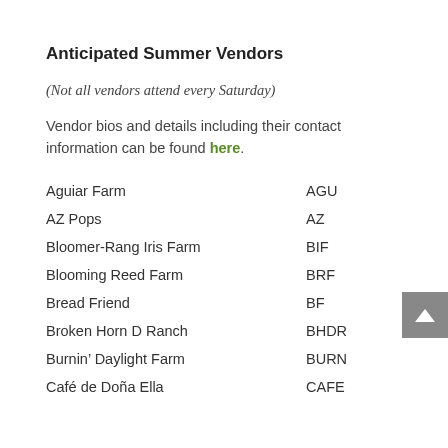Anticipated Summer Vendors
(Not all vendors attend every Saturday)
Vendor bios and details including their contact information can be found here.
Aguiar Farm    AGU
AZ Pops    AZ
Bloomer-Rang Iris Farm    BIF
Blooming Reed Farm    BRF
Bread Friend    BF
Broken Horn D Ranch    BHDR
Burnin’ Daylight Farm    BURN
Café de Doña Ella    CAFE